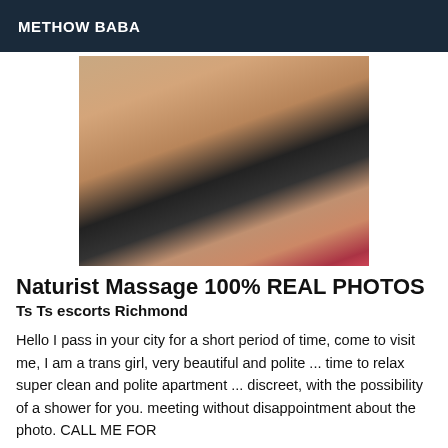METHOW BABA
[Figure (photo): Close-up photo of a person wearing a black lingerie top, with dark hair, partially showing a tattoo on the torso, against a pink/magenta background.]
Naturist Massage 100% REAL PHOTOS
Ts Ts escorts Richmond
Hello I pass in your city for a short period of time, come to visit me, I am a trans girl, very beautiful and polite ... time to relax super clean and polite apartment ... discreet, with the possibility of a shower for you. meeting without disappointment about the photo. CALL ME FOR